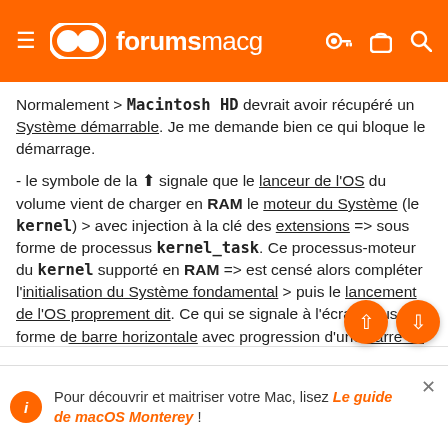forumsmacg
Normalement > Macintosh HD devrait avoir récupéré un Système démarrable. Je me demande bien ce qui bloque le démarrage.

- le symbole de la ⬆ signale que le lanceur de l'OS du volume vient de charger en RAM le moteur du Système (le kernel) > avec injection à la clé des extensions => sous forme de processus kernel_task. Ce processus-moteur du kernel supporté en RAM => est censé alors compléter l'initialisation du Système fondamental > puis le lancement de l'OS proprement dit. Ce qui se signale à l'écran sous forme d'une barre horizontale avec progression d'une barre de
Pour découvrir et maitriser votre Mac, lisez Le guide de macOS Monterey !